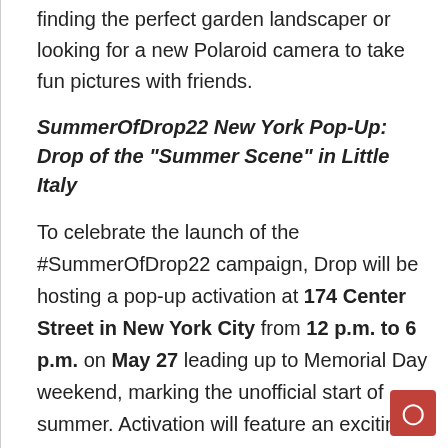finding the perfect garden landscaper or looking for a new Polaroid camera to take fun pictures with friends.
SummerOfDrop22 New York Pop-Up: Drop of the “Summer Scene” in Little Italy
To celebrate the launch of the #SummerOfDrop22 campaign, Drop will be hosting a pop-up activation at 174 Center Street in New York City from 12 p.m. to 6 p.m. on May 27 leading up to Memorial Day weekend, marking the unofficial start of summer. Activation will feature an exciting “Summer Scene” beach setup, featuring beach volleyball, a frozen treat cart and surprise QR code light projections, enticing shoppers to join Drop and enter to win a